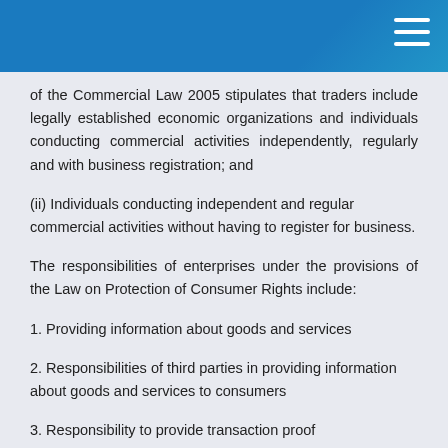of the Commercial Law 2005 stipulates that traders include legally established economic organizations and individuals conducting commercial activities independently, regularly and with business registration; and
(ii) Individuals conducting independent and regular commercial activities without having to register for business.
The responsibilities of enterprises under the provisions of the Law on Protection of Consumer Rights include:
1. Providing information about goods and services
2. Responsibilities of third parties in providing information about goods and services to consumers
3. Responsibility to provide transaction proof
4. Responsibility for warranty of goods, components and accessories